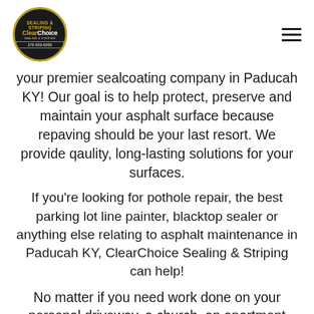[Figure (logo): ClearChoice Sealing & Striping company logo — circular gold-bordered emblem on dark background with brand name and phone number]
your premier sealcoating company in Paducah KY! Our goal is to help protect, preserve and maintain your asphalt surface because repaving should be your last resort. We provide qaulty, long-lasting solutions for your surfaces.
If you’re looking for pothole repair, the best parking lot line painter, blacktop sealer or anything else relating to asphalt maintenance in Paducah KY, ClearChoice Sealing & Striping can help!
No matter if you need work done on your personal driveway, a church, an apartment complex, a business park or plaza, a hotel, an office plaza, a